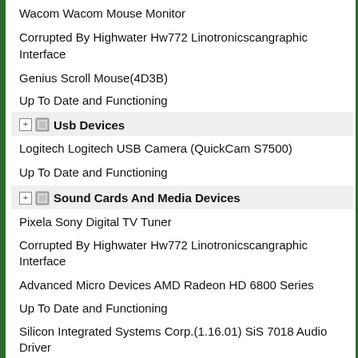Wacom Wacom Mouse Monitor
Corrupted By Highwater Hw772 Linotronicscangraphic Interface
Genius Scroll Mouse(4D3B)
Up To Date and Functioning
Usb Devices
Logitech Logitech USB Camera (QuickCam S7500)
Up To Date and Functioning
Sound Cards And Media Devices
Pixela Sony Digital TV Tuner
Corrupted By Highwater Hw772 Linotronicscangraphic Interface
Advanced Micro Devices AMD Radeon HD 6800 Series
Up To Date and Functioning
Silicon Integrated Systems Corp.(1.16.01) SiS 7018 Audio Driver